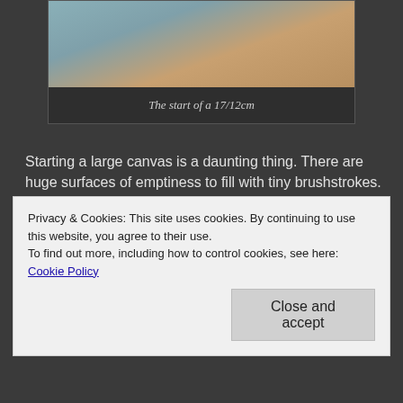[Figure (photo): A painting in progress on a small canvas showing a blue/teal painted surface on a wooden background, partially painted.]
The start of a 17/12cm
Starting a large canvas is a daunting thing. There are huge surfaces of emptiness to fill with tiny brushstrokes. Starting a small painting is the reverse: the small surface seems to small to give a good look into a whole landscape. The urge is to fill it with something small, like one bird or a far away view of a tree or building.  It is hard to realise the small canvas is suitable for the same principles of composition as the large one.
Privacy & Cookies: This site uses cookies. By continuing to use this website, you agree to their use.
To find out more, including how to control cookies, see here: Cookie Policy
Close and accept